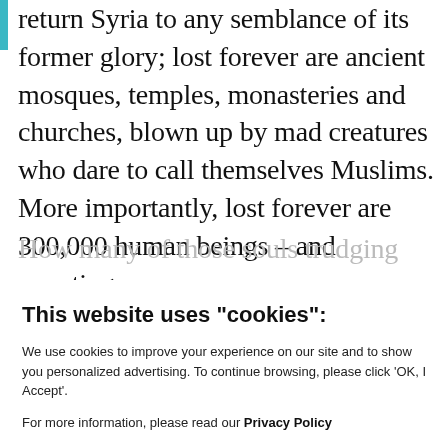return Syria to any semblance of its former glory; lost forever are ancient mosques, temples, monasteries and churches, blown up by mad creatures who dare to call themselves Muslims. More importantly, lost forever are 300,000 human beings – and counting.
How many of those souls trudging along a
This website uses "cookies":
We use cookies to improve your experience on our site and to show you personalized advertising. To continue browsing, please click 'OK, I Accept'.
For more information, please read our Privacy Policy
Ok, I Accept